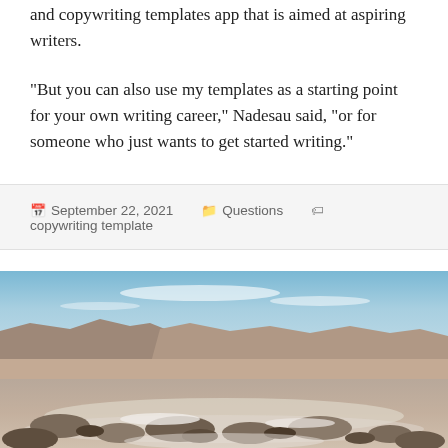and copywriting templates app that is aimed at aspiring writers.
“But you can also use my templates as a starting point for your own writing career,” Nadesau said, “or for someone who just wants to get started writing.”
September 22, 2021   Questions   copywriting template
[Figure (photo): A desert landscape photograph showing a dry, barren terrain with rocky salt flats in the foreground, mountains in the background, and a blue sky with light clouds above.]